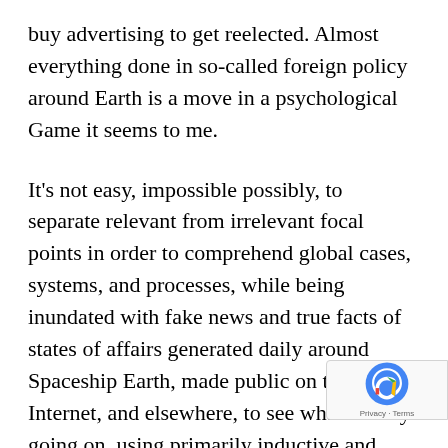buy advertising to get reelected. Almost everything done in so-called foreign policy around Earth is a move in a psychological Game it seems to me.
It's not easy, impossible possibly, to separate relevant from irrelevant focal points in order to comprehend global cases, systems, and processes, while being inundated with fake news and true facts of states of affairs generated daily around Spaceship Earth, made public on the Internet, and elsewhere, to see what's really going on, using primarily inductive and analogical reasoning, based on probability, not deductive logic. Almost ne[ver] can anyone prove with deductive logic that a[...]